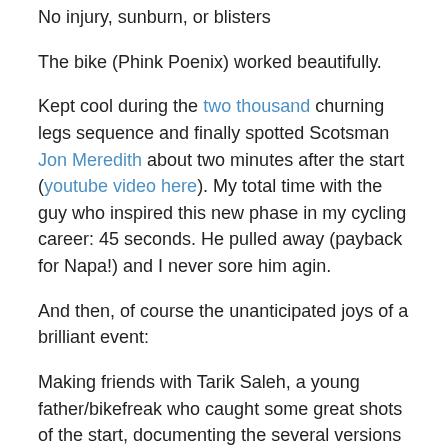No injury, sunburn, or blisters
The bike (Phink Poenix) worked beautifully.
Kept cool during the two thousand churning legs sequence and finally spotted Scotsman Jon Meredith about two minutes after the start (youtube video here). My total time with the guy who inspired this new phase in my cycling career: 45 seconds. He pulled away (payback for Napa!) and I never sore him agin.
And then, of course the unanticipated joys of a brilliant event:
Making friends with Tarik Saleh, a young father/bikefreak who caught some great shots of the start, documenting the several versions of Dorothy of Oz, and Santa Claus, Godzilla, etc…